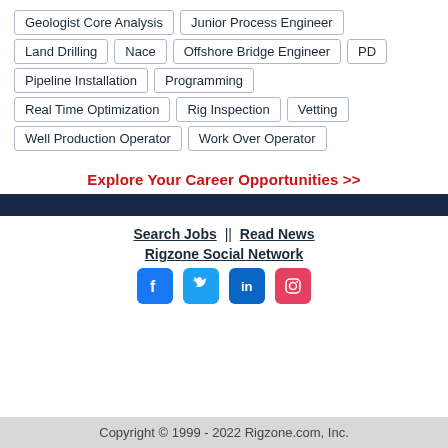Geologist Core Analysis
Junior Process Engineer
Land Drilling
Nace
Offshore Bridge Engineer
PD
Pipeline Installation
Programming
Real Time Optimization
Rig Inspection
Vetting
Well Production Operator
Work Over Operator
Explore Your Career Opportunities >>
Search Jobs  ||  Read News
Rigzone Social Network
Copyright © 1999 - 2022 Rigzone.com, Inc.